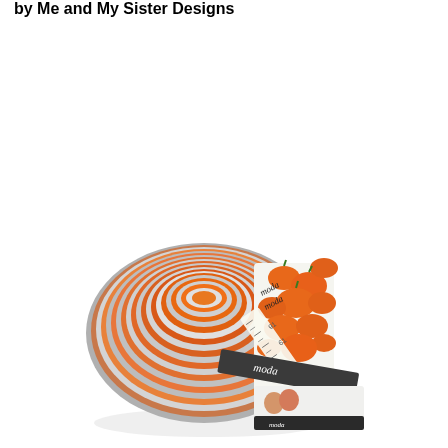by Me and My Sister Designs
[Figure (photo): A Moda fabric jelly roll (roll of fabric strips) featuring orange pumpkin print fabric with a Moda branded ribbon/tag. The roll shows layered fabric strips in orange, gray, and white patterns. A small photo of two women is visible on the label at the bottom.]